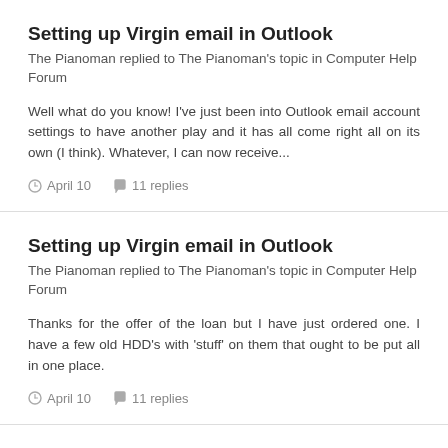Setting up Virgin email in Outlook
The Pianoman replied to The Pianoman's topic in Computer Help Forum
Well what do you know! I've just been into Outlook email account settings to have another play and it has all come right all on its own (I think). Whatever, I can now receive...
April 10   11 replies
Setting up Virgin email in Outlook
The Pianoman replied to The Pianoman's topic in Computer Help Forum
Thanks for the offer of the loan but I have just ordered one. I have a few old HDD's with 'stuff' on them that ought to be put all in one place.
April 10   11 replies